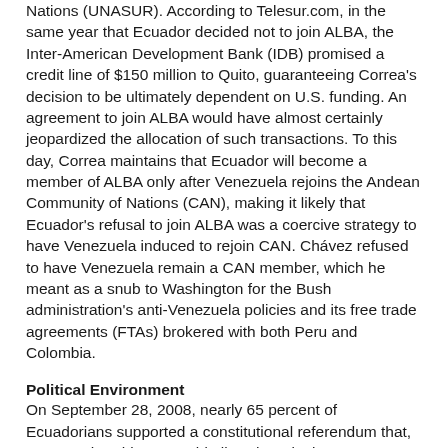Nations (UNASUR). According to Telesur.com, in the same year that Ecuador decided not to join ALBA, the Inter-American Development Bank (IDB) promised a credit line of $150 million to Quito, guaranteeing Correa's decision to be ultimately dependent on U.S. funding. An agreement to join ALBA would have almost certainly jeopardized the allocation of such transactions. To this day, Correa maintains that Ecuador will become a member of ALBA only after Venezuela rejoins the Andean Community of Nations (CAN), making it likely that Ecuador's refusal to join ALBA was a coercive strategy to have Venezuela induced to rejoin CAN. Chávez refused to have Venezuela remain a CAN member, which he meant as a snub to Washington for the Bush administration's anti-Venezuela policies and its free trade agreements (FTAs) brokered with both Peru and Colombia.
Political Environment
On September 28, 2008, nearly 65 percent of Ecuadorians supported a constitutional referendum that, among other things, would allow the reigning Correa to stand for two more terms. The new constitution, the 20th since Ecuador achieved independence, also greatly reduced the power of the country's military and Congress, two institutions